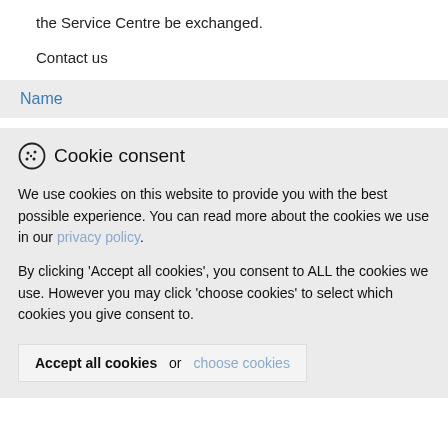the Service Centre be exchanged.
Contact us
Name
Cookie consent
We use cookies on this website to provide you with the best possible experience. You can read more about the cookies we use in our privacy policy.
By clicking 'Accept all cookies', you consent to ALL the cookies we use. However you may click 'choose cookies' to select which cookies you give consent to.
Accept all cookies  or  choose cookies